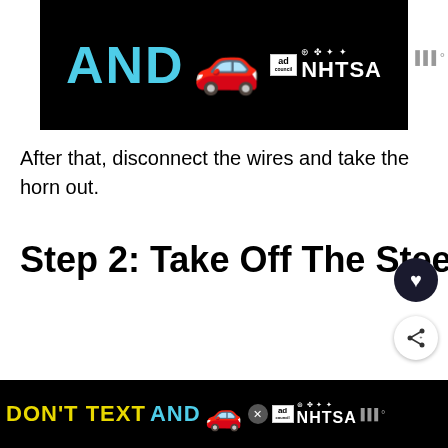[Figure (screenshot): Advertisement banner with black background showing 'AND' in teal letters and a red car emoji, with Ad Council and NHTSA logos]
After that, disconnect the wires and take the horn out.
Step 2: Take Off The Steering Wheel
You can't do much to the steering wheel while it's still attached.
[Figure (screenshot): WHAT'S NEXT arrow with thumbnail and text 'Why Does My Car Jump...']
By the the me... stain the
[Figure (screenshot): Bottom advertisement banner with black background: DON'T TEXT AND with red car emoji, Ad Council and NHTSA logos, and close button]